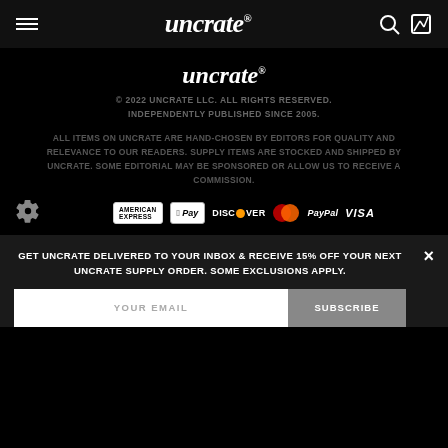uncrate®
uncrate®
© 2022 UNCRATE LLC. ALL RIGHTS RESERVED. INDEPENDENTLY PUBLISHED SINCE 2005.
ALL ITEMS ON UNCRATE ARE HAND-CHOSEN BY EDITORS FOR QUALITY AND RELEVANCE TO OUR READERS. SUPPLY ITEMS ARE STOCKED AND SHIPPED BY UNCRATE. SOME EDITORIAL MAY BE SPONSORED OR ALLOW US TO RECEIVE A COMMISSION.
[Figure (other): Payment method icons: American Express, Apple Pay, Discover, Mastercard, PayPal, Visa]
GET UNCRATE DELIVERED TO YOUR INBOX & RECEIVE 15% OFF YOUR NEXT UNCRATE SUPPLY ORDER. SOME EXCLUSIONS APPLY.